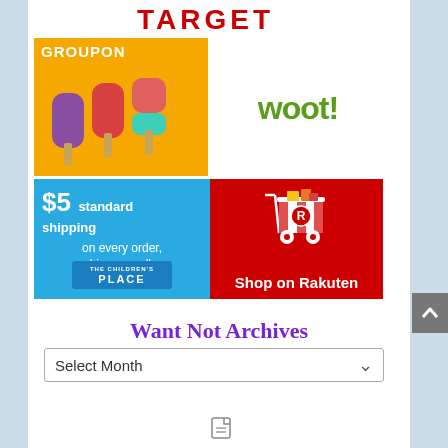[Figure (logo): TARGET logo in red bold uppercase letters]
[Figure (photo): Groupon ad with yellow background, white GROUPON text, and three popsicles (purple, red, teal)]
[Figure (logo): woot! logo in green bold lowercase with exclamation mark]
[Figure (infographic): The Children's Place ad: blue background, $5 standard shipping on every order, big or small. The Children's Place logo.]
[Figure (infographic): Rakuten ad: red background, shopping cart with gifts, 'Shop on Rakuten' text]
Want Not Archives
[Figure (screenshot): Select Month dropdown selector]
[Figure (other): Small document/file icon at bottom of page]